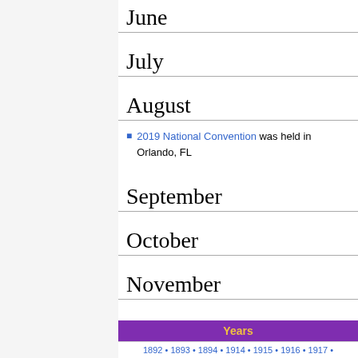June
July
August
2019 National Convention was held in Orlando, FL
September
October
November
December
| Years |
| --- |
| 1892 • 1893 • 1894 • 1914 • 1915 • 1916 • 1917 • |